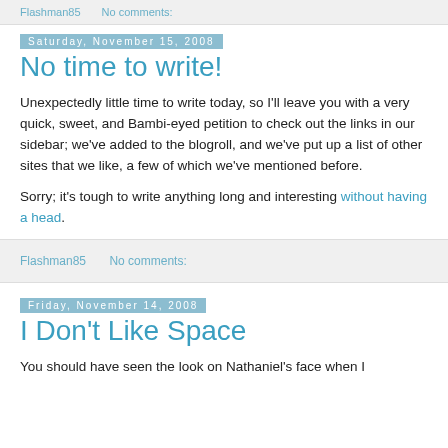Flashman85    No comments:
Saturday, November 15, 2008
No time to write!
Unexpectedly little time to write today, so I'll leave you with a very quick, sweet, and Bambi-eyed petition to check out the links in our sidebar; we've added to the blogroll, and we've put up a list of other sites that we like, a few of which we've mentioned before.
Sorry; it's tough to write anything long and interesting without having a head.
Flashman85    No comments:
Friday, November 14, 2008
I Don't Like Space
You should have seen the look on Nathaniel's face when I